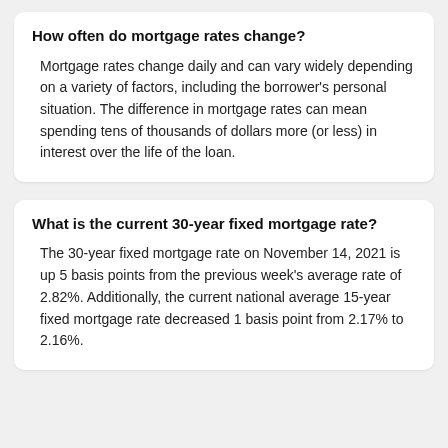How often do mortgage rates change?
Mortgage rates change daily and can vary widely depending on a variety of factors, including the borrower's personal situation. The difference in mortgage rates can mean spending tens of thousands of dollars more (or less) in interest over the life of the loan.
What is the current 30-year fixed mortgage rate?
The 30-year fixed mortgage rate on November 14, 2021 is up 5 basis points from the previous week's average rate of 2.82%. Additionally, the current national average 15-year fixed mortgage rate decreased 1 basis point from 2.17% to 2.16%.